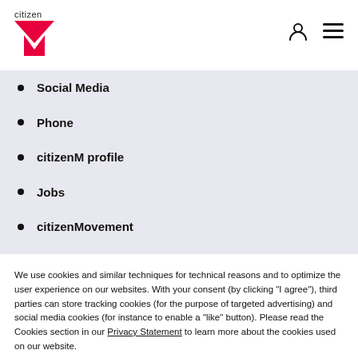[Figure (logo): citizenM logo with red M shape and word 'citizen' above it]
Social Media
Phone
citizenM profile
Jobs
citizenMovement
We use cookies and similar techniques for technical reasons and to optimize the user experience on our websites. With your consent (by clicking "I agree"), third parties can store tracking cookies (for the purpose of targeted advertising) and social media cookies (for instance to enable a "like" button). Please read the Cookies section in our Privacy Statement to learn more about the cookies used on our website.
I agree
Click here to say no and run for the hills.